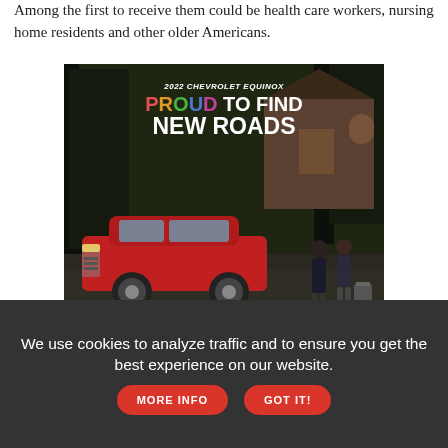Among the first to receive them could be health care workers, nursing home residents and other older Americans.
[Figure (illustration): Chevrolet advertisement for the 2022 Chevrolet Equinox. Shows a red SUV in front of a house surrounded by trees. Text reads '2022 CHEVROLET EQUINOX PROUD TO FIND NEW ROADS'. Bottom bar shows Chevrolet logo with bowtie emblem and a 'Learn More' button.]
We use cookies to analyze traffic and to ensure you get the best experience on our website. MORE INFO GOT IT!